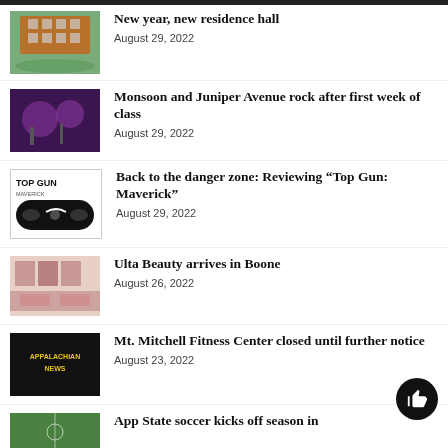New year, new residence hall
August 29, 2022
Monsoon and Juniper Avenue rock after first week of class
August 29, 2022
Back to the danger zone: Reviewing “Top Gun: Maverick”
August 29, 2022
Ulta Beauty arrives in Boone
August 26, 2022
Mt. Mitchell Fitness Center closed until further notice
August 23, 2022
App State soccer kicks off season in...